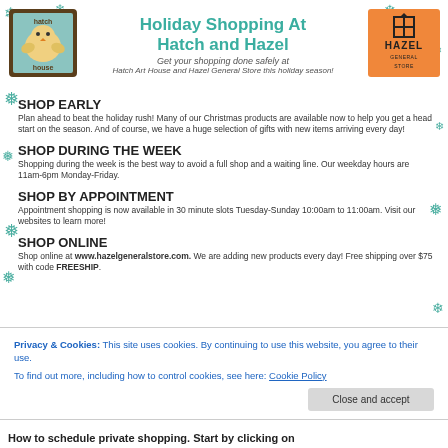[Figure (logo): Hatch Art House logo - brown bordered square with illustrated character and text 'hatch house']
Holiday Shopping At Hatch and Hazel
Get your shopping done safely at Hatch Art House and Hazel General Store this holiday season!
[Figure (logo): Hazel General Store logo - orange square with geometric icon and text 'HAZEL GENERAL STORE']
SHOP EARLY
Plan ahead to beat the holiday rush! Many of our Christmas products are available now to help you get a head start on the season. And of course, we have a huge selection of gifts with new items arriving every day!
SHOP DURING THE WEEK
Shopping during the week is the best way to avoid a full shop and a waiting line. Our weekday hours are 11am-6pm Monday-Friday.
SHOP BY APPOINTMENT
Appointment shopping is now available in 30 minute slots Tuesday-Sunday 10:00am to 11:00am. Visit our websites to learn more!
SHOP ONLINE
Shop online at www.hazelgeneralstore.com. We are adding new products every day! Free shipping over $75 with code FREESHIP.
Privacy & Cookies: This site uses cookies. By continuing to use this website, you agree to their use.
To find out more, including how to control cookies, see here: Cookie Policy
How to schedule private shopping. Start by clicking on